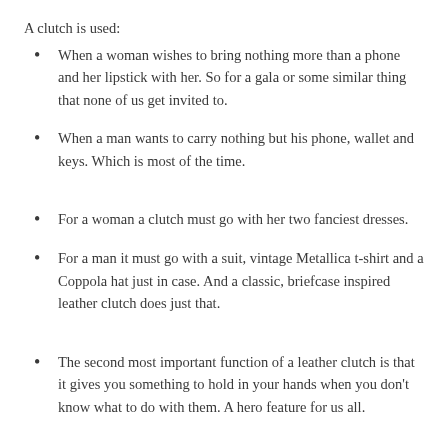A clutch is used:
When a woman wishes to bring nothing more than a phone and her lipstick with her.  So for a gala or some similar thing that none of us get invited to.
When a man wants to carry nothing but his phone, wallet and keys. Which is most of the time.
For a woman a clutch must go with her two fanciest dresses.
For a man it must go with a suit, vintage Metallica t-shirt and a Coppola hat just in case. And a classic, briefcase inspired leather clutch does just that.
The second most important function of a leather clutch is that it gives you something to hold in your hands when you don't know what to do with them. A hero feature for us all.